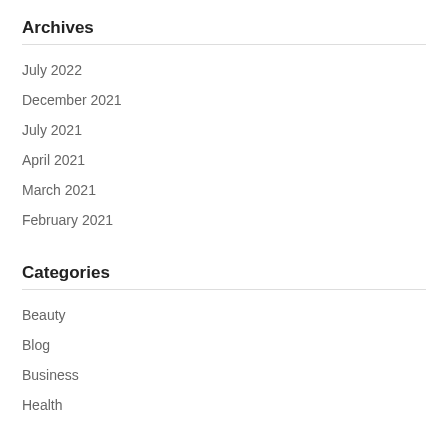Archives
July 2022
December 2021
July 2021
April 2021
March 2021
February 2021
Categories
Beauty
Blog
Business
Health